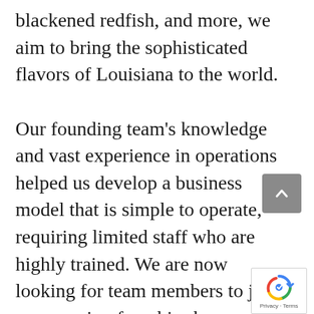blackened redfish, and more, we aim to bring the sophisticated flavors of Louisiana to the world.

Our founding team's knowledge and vast experience in operations helped us develop a business model that is simple to operate, requiring limited staff who are highly trained. We are now looking for team members to join our growing franchise because we believe that you haven't experienced New Orleans until you've been to New Orleans